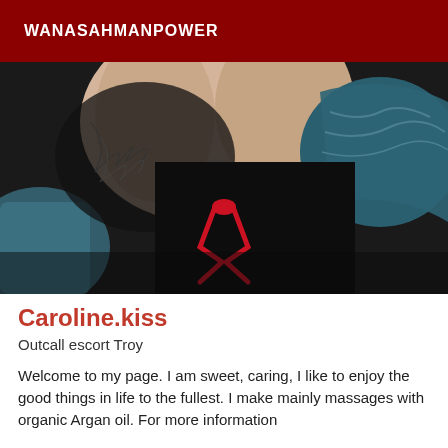WANASAHMANPOWER
[Figure (photo): Close-up photo of a person wearing black lace lingerie and a blue bra with a red ribbon detail in the center, against a dark background.]
Caroline.kiss
Outcall escort Troy
Welcome to my page. I am sweet, caring, I like to enjoy the good things in life to the fullest. I make mainly massages with organic Argan oil. For more information